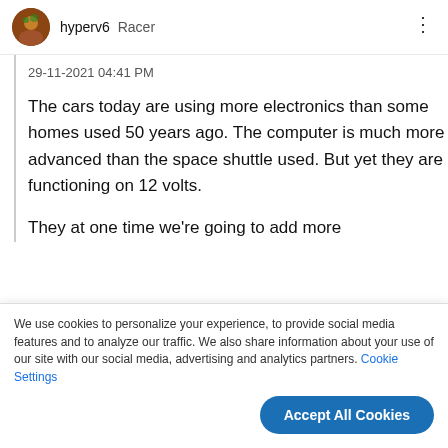hyperv6  Racer
29-11-2021 04:41 PM
The cars today are using more electronics than some homes used 50 years ago. The computer is much more advanced than the space shuttle used. But yet they are functioning on 12 volts.
They at one time we're going to add more
We use cookies to personalize your experience, to provide social media features and to analyze our traffic. We also share information about your use of our site with our social media, advertising and analytics partners. Cookie Settings
Accept All Cookies